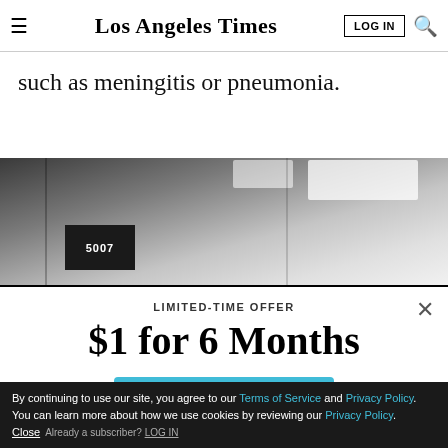Los Angeles Times
such as meningitis or pneumonia.
[Figure (photo): Interior hallway or hospital corridor with ceiling lights, a dark room number sign reading 5007 on the wall.]
LIMITED-TIME OFFER
$1 for 6 Months
SUBSCRIBE NOW
By continuing to use our site, you agree to our Terms of Service and Privacy Policy. You can learn more about how we use cookies by reviewing our Privacy Policy. Close
Already a subscriber? LOG IN